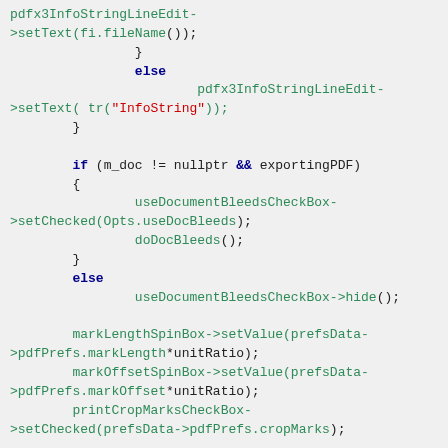[Figure (screenshot): Source code snippet in C++ showing PDF export dialog initialization code with syntax highlighting. Dark blue keywords, green function/variable names, red string literals on a light gray background.]